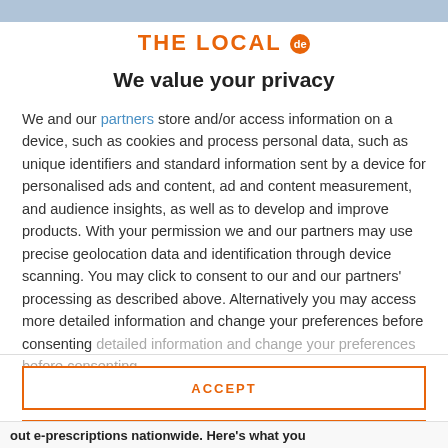THE LOCAL de
We value your privacy
We and our partners store and/or access information on a device, such as cookies and process personal data, such as unique identifiers and standard information sent by a device for personalised ads and content, ad and content measurement, and audience insights, as well as to develop and improve products. With your permission we and our partners may use precise geolocation data and identification through device scanning. You may click to consent to our and our partners' processing as described above. Alternatively you may access more detailed information and change your preferences before consenting
ACCEPT
MORE OPTIONS
out e-prescriptions nationwide. Here's what you